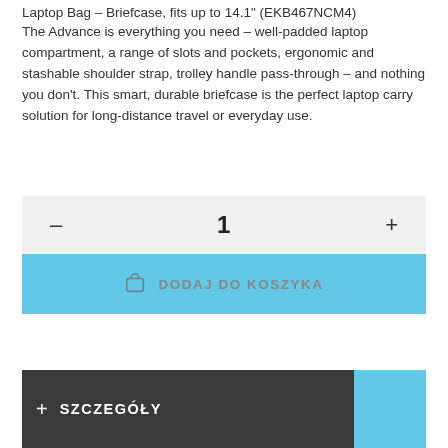Laptop Bag – Briefcase, fits up to 14.1" (EKB467NCM4)
The Advance is everything you need – well-padded laptop compartment, a range of slots and pockets, ergonomic and stashable shoulder strap, trolley handle pass-through – and nothing you don't. This smart, durable briefcase is the perfect laptop carry solution for long-distance travel or everyday use.
– 1 +
DODAJ DO KOSZYKA
+ SZCZEGÓŁY